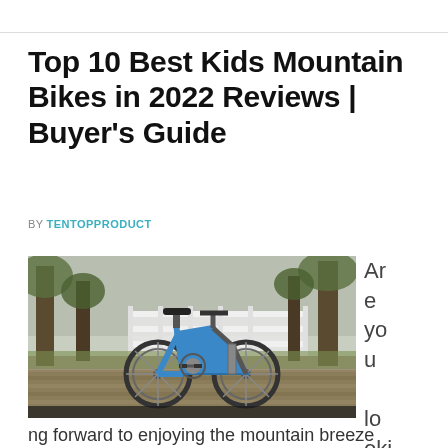Top 10 Best Kids Mountain Bikes in 2022 Reviews | Buyer's Guide
BY TENTOPPRODUCT
[Figure (photo): A blue kids mountain bike parked on a wooden deck in front of trees and a white fence outdoors]
Are you looking forward to enjoying the mountain breeze